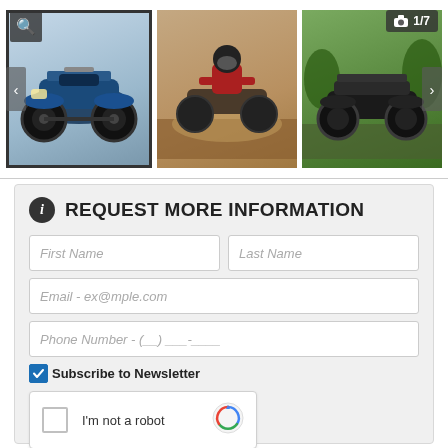[Figure (photo): ATV vehicle gallery with thumbnail strip showing three ATV images. First thumbnail shows a blue Honda ATV, second shows a rider on an ATV in dusty terrain, third shows a black ATV in a green landscape. Navigation arrows on left and right. Zoom icon top-left, photo counter '1/7' top-right.]
REQUEST MORE INFORMATION
First Name
Last Name
Email - ex@mple.com
Phone Number - (__) ___-____
Subscribe to Newsletter
[Figure (screenshot): reCAPTCHA widget with checkbox and 'I'm not a robot' text and reCAPTCHA logo]